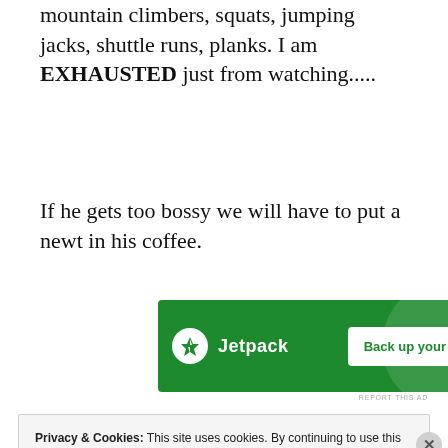mountain climbers, squats, jumping jacks, shuttle runs, planks. I am EXHAUSTED just from watching.....
If he gets too bossy we will have to put a newt in his coffee.
[Figure (other): Jetpack advertisement banner: green background with Jetpack logo and 'Back up your site' button]
Privacy & Cookies: This site uses cookies. By continuing to use this website, you agree to their use.
To find out more, including how to control cookies, see here:
Cookie Policy
Close and accept